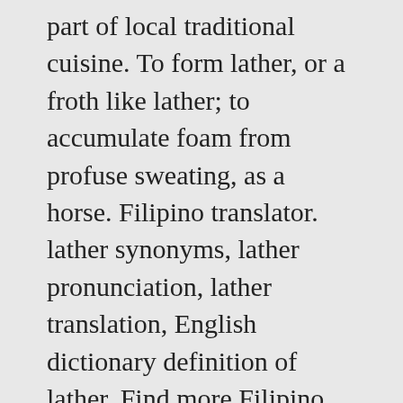( ... g ) part of local traditional cuisine. To form lather, or a froth like lather; to accumulate foam from profuse sweating, as a horse. Filipino translator. lather synonyms, lather pronunciation, lather translation, English dictionary definition of lather. Find more Filipino words at wordhippo.com! stemming. O . Translate filipino tagalog. However unlike other immersive approaches we never let go of your hand: New Words are Introduced Carefully; Sentence Structure Builds Gradually; Grammar is Explained, Step by Step; Lessons backed by 5000 Word Flashcard Vocabulary Builder Leather is a durable and flexible material created by tanning animal